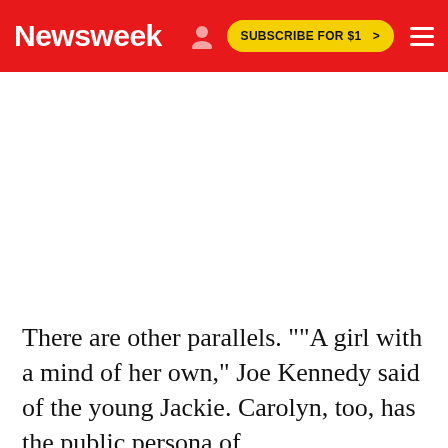Newsweek   SUBSCRIBE FOR $1 >
[Figure (other): Advertisement or blank white space area below navigation bar]
There are other parallels. ""A girl with a mind of her own," Joe Kennedy said of the young Jackie. Carolyn, too, has the public persona of